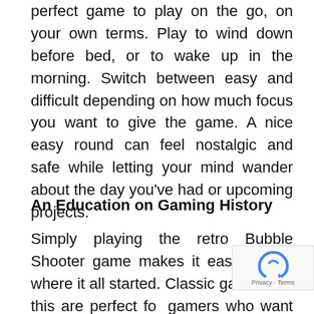perfect game to play on the go, on your own terms. Play to wind down before bed, or to wake up in the morning. Switch between easy and difficult depending on how much focus you want to give the game. A nice easy round can feel nostalgic and safe while letting your mind wander about the day you've had or upcoming projects.
An Education on Gaming History
Simply playing the retro Bubble Shooter game makes it easy to see where it all started. Classic games like this are perfect fo gamers who want to experience more history of the genre. With so many advances